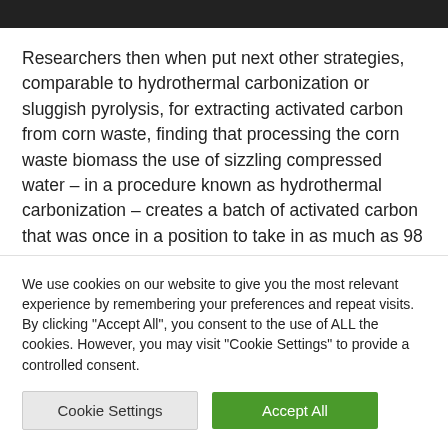Researchers then when put next other strategies, comparable to hydrothermal carbonization or sluggish pyrolysis, for extracting activated carbon from corn waste, finding that processing the corn waste biomass the use of sizzling compressed water – in a procedure known as hydrothermal carbonization – creates a batch of activated carbon that was once in a position to take in as much as 98
We use cookies on our website to give you the most relevant experience by remembering your preferences and repeat visits. By clicking "Accept All", you consent to the use of ALL the cookies. However, you may visit "Cookie Settings" to provide a controlled consent.